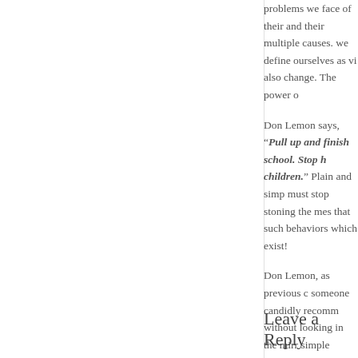problems we face of their and their multiple causes. we define ourselves as vi also change. The power o
Don Lemon says, "Pull up and finish school. Stop h children." Plain and simp must stop stoning the mes that such behaviors which exist!
Don Lemon, as previous c someone candidly recomm without looking in the mirr simple message which is a Americans in our beloved Hightower whose father sa at ourselves. Let us stop s and whole and enable us a
Leave a Reply